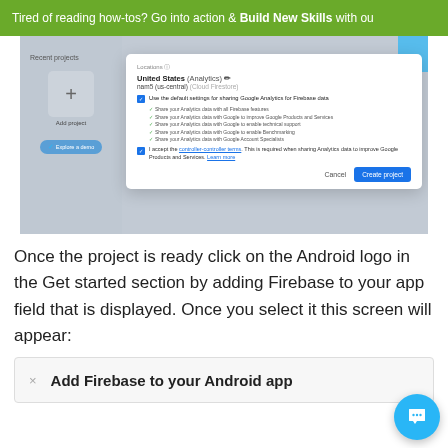Tired of reading how-tos? Go into action & Build New Skills with ou
[Figure (screenshot): Firebase console screenshot showing a project creation dialog with location settings (United States/Analytics, nam5 us-central/Cloud Firestore), checkboxes for Google Analytics data sharing settings, controller-controller terms acceptance, and Cancel/Create project buttons. Background shows Add project and Explore a demo options.]
Once the project is ready click on the Android logo in the Get started section by adding Firebase to your app field that is displayed. Once you select it this screen will appear:
[Figure (screenshot): Bottom portion of a Firebase setup screen showing 'Add Firebase to your Android app' as a heading with an X icon on the left.]